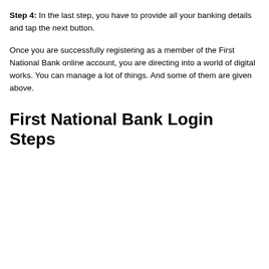Step 4: In the last step, you have to provide all your banking details and tap the next button.
Once you are successfully registering as a member of the First National Bank online account, you are directing into a world of digital works. You can manage a lot of things. And some of them are given above.
First National Bank Login Steps